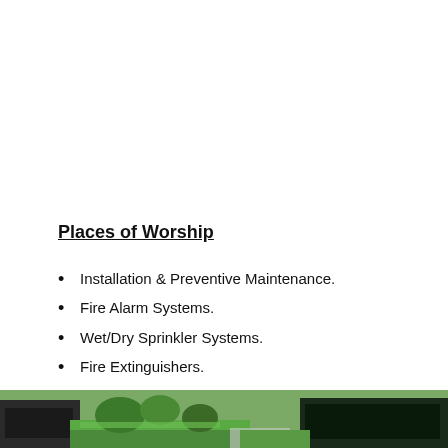Places of Worship
Installation & Preventive Maintenance.
Fire Alarm Systems.
Wet/Dry Sprinkler Systems.
Fire Extinguishers.
Central Station Monitoring.
[Figure (photo): Outdoor photo strip showing grass, trees and vehicles at bottom of page]